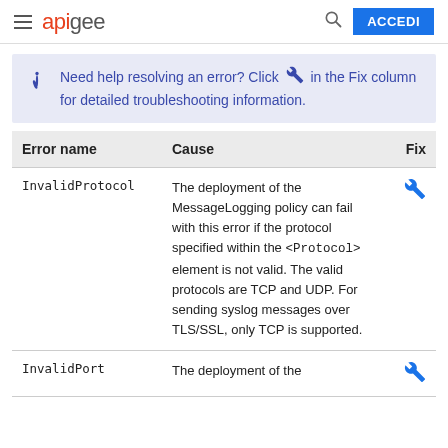apigee — ACCEDI
Need help resolving an error? Click (wrench icon) in the Fix column for detailed troubleshooting information.
| Error name | Cause | Fix |
| --- | --- | --- |
| InvalidProtocol | The deployment of the MessageLogging policy can fail with this error if the protocol specified within the <Protocol> element is not valid. The valid protocols are TCP and UDP. For sending syslog messages over TLS/SSL, only TCP is supported. | (wrench) |
| InvalidPort | The deployment of the | (wrench) |